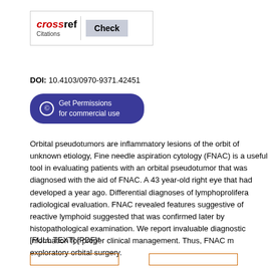[Figure (logo): CrossRef Citations Check button logo in a bordered box]
DOI: 10.4103/0970-9371.42451
[Figure (other): Get Permissions for commercial use button (dark blue rounded rectangle with copyright icon)]
Orbital pseudotumors are inflammatory lesions of the orbit of unknown etiology, Fine needle aspiration cytology (FNAC) is a useful tool in evaluating patients with an orbital pseudotumor that was diagnosed with the aid of FNAC. A 43 year-old right eye that had developed a year ago. Differential diagnoses of lymphoprolifera radiological evaluation. FNAC revealed features suggestive of reactive lymphoid suggested that was confirmed later by histopathological examination. We report invaluable diagnostic information for proper clinical management. Thus, FNAC m exploratory orbital surgery.
[FULL TEXT] [PDF]*